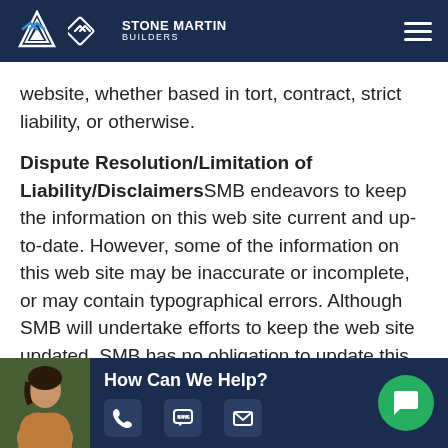Stone Martin Builders — Navigation bar
website, whether based in tort, contract, strict liability, or otherwise.
Dispute Resolution/Limitation of Liability/Disclaimers SMB endeavors to keep the information on this web site current and up-to-date. However, some of the information on this web site may be inaccurate or incomplete, or may contain typographical errors. Although SMB will undertake efforts to keep the web site updated, SMB has no obligation to update this web site, and does not warrant that the content of this web site is error free or that its service in
[Figure (other): Bottom chat bar with agent photo, 'How Can We Help?' text, phone, SMS, and email icons, and a green chat bubble button]